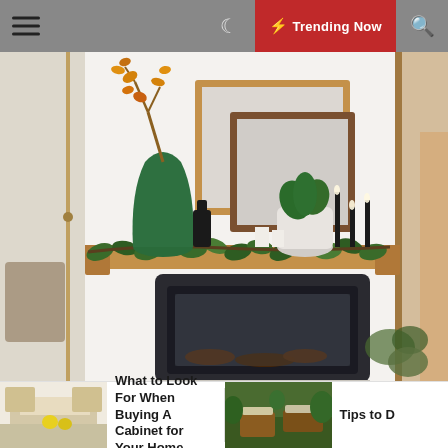Trending Now
[Figure (photo): A decorated fireplace mantel with two wood-framed mirrors, a green glass vase with orange branches, black candlesticks, a white potted plant, and green garland draped along the wooden mantel shelf above a modern black fireplace insert.]
[Figure (photo): Small kitchen thumbnail image.]
What to Look For When Buying A Cabinet for Your Home
[Figure (photo): Outdoor patio/garden thumbnail image.]
Tips to D